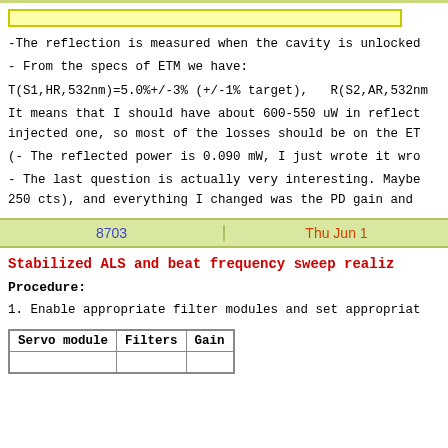-The reflection is measured when the cavity is unlocked
- From the specs of ETM we have:
T(S1,HR,532nm)=5.0%+/-3% (+/-1% target),  R(S2,AR,532nm
It means that I should have about 600-550 uW in reflect injected one, so most of the losses should be on the ET
(- The reflected power is 0.090 mW, I just wrote it wro
- The last question is actually very interesting. Maybe 250 cts), and everything I changed was the PD gain and
8703
Thu Jun 1
Stabilized ALS and beat frequency sweep realiz
Procedure:
1. Enable appropriate filter modules and set appropriat
| Servo module | Filters | Gain |
| --- | --- | --- |